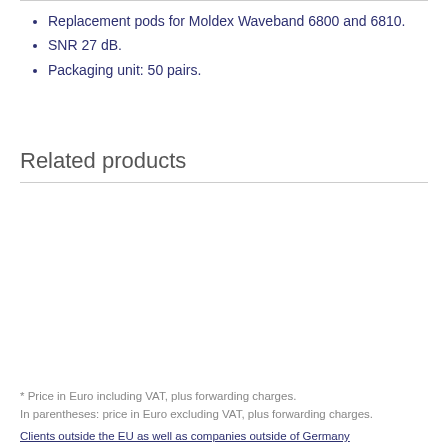Replacement pods for Moldex Waveband 6800 and 6810.
SNR 27 dB.
Packaging unit: 50 pairs.
Related products
* Price in Euro including VAT, plus forwarding charges.
In parentheses: price in Euro excluding VAT, plus forwarding charges.
Clients outside the EU as well as companies outside of Germany